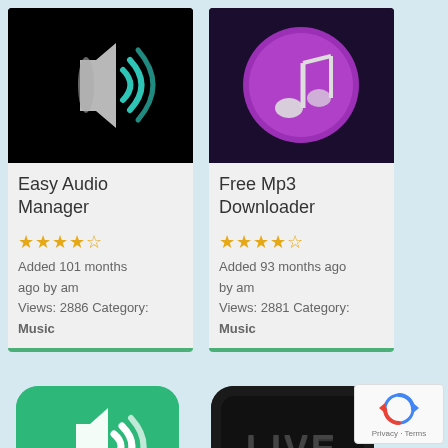[Figure (screenshot): Easy Audio Manager app icon - speaker with teal wifi waves on black background]
Easy Audio Manager
★★★★☆ Added 101 months ago by am Views: 2886 Category: Music
[Figure (screenshot): Free Mp3 Downloader app icon - purple circle with music note on dark background]
Free Mp3 Downloader
★★★★☆ Added 93 months ago by am Views: 2881 Category: Music
[Figure (screenshot): Green audio/volume app icon with speaker waves on teal background]
[Figure (screenshot): LIVE app icon - dark background with LIVE text]
[Figure (other): Google reCAPTCHA widget with Privacy and Terms links]